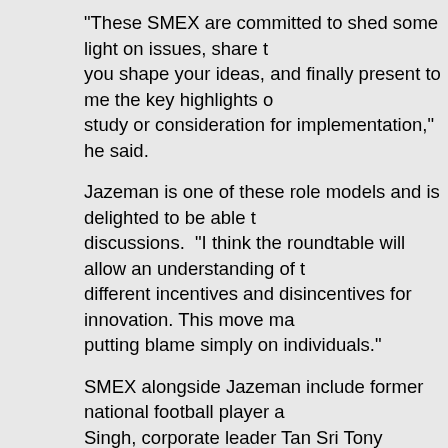“These SMEX are committed to shed some light on issues, share the you shape your ideas, and finally present to me the key highlights of study or consideration for implementation,” he said.
Jazeman is one of these role models and is delighted to be able to discussions. “I think the roundtable will allow an understanding of t different incentives and disincentives for innovation. This move may putting blame simply on individuals.”
SMEX alongside Jazeman include former national football player a Singh, corporate leader Tan Sri Tony Fernandes, educator and crea Wing, television personality Aznil Nawawi, actress and television pe television and theatre personality Low Ngai Yuen and inventor of th
Among the others are Federation of Malaysian Consumer Associat Nadason, recording artistes Amy Search and Pete Teo, Malaysia A managing director Tengku Datuk Seri Azmil Zahruddin Raja Abdul A Lian, and 1Malaysia and national unity advocate Anas Zubedy.
The other subject matter experts are Institute of Strategic and Inter Mahani Zainal Abidin, Talent Corporation CEO Johan Mahmood Me president Dr Maketab Mahmood, Global Environment Centre direct number one badminton player Datuk Lee Chong Wei, national cy